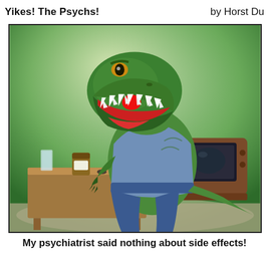Yikes! The Psychs!   by Horst Du
[Figure (illustration): A cartoon/comic illustration of a T-Rex dinosaur wearing a blue shirt and jeans, standing in a room with a vintage television set on the right and a desk/table in the foreground with a glass of water, a pill bottle, and some pills on it. The background shows green foliage. The dinosaur has its mouth wide open showing large teeth and a red clown nose.]
My psychiatrist said nothing about side effects!